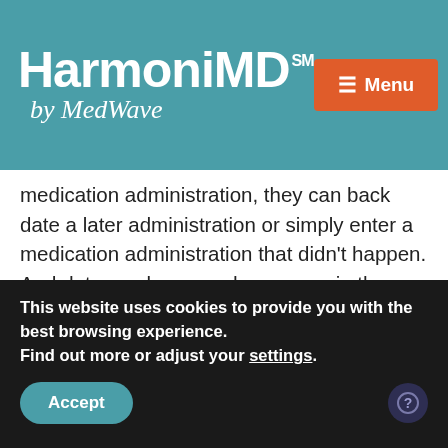HarmoniMD℠ by MedWave — Menu
medication administration, they can back date a later administration or simply enter a medication administration that didn't happen. And data can be erased or a page in the chart torn out. With an EHR, everything entered is automatically stamped with the date and time. And, with a state-of-the-art system like HarmoniMD, no data can ever be erased. If something is erroneously loaded into a Patient Chart, the data can be cancelled, but there will
This website uses cookies to provide you with the best browsing experience. Find out more or adjust your settings.